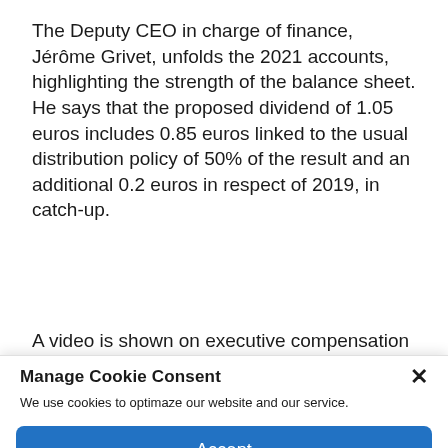The Deputy CEO in charge of finance, Jérôme Grivet, unfolds the 2021 accounts, highlighting the strength of the balance sheet. He says that the proposed dividend of 1.05 euros includes 0.85 euros linked to the usual distribution policy of 50% of the result and an additional 0.2 euros in respect of 2019, in catch-up.
A video is shown on executive compensation
Manage Cookie Consent
We use cookies to optimaze our website and our service.
Accept
Cookie Policy